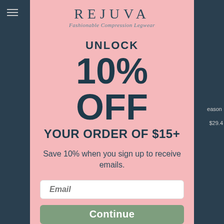[Figure (logo): REJUVA logo with tagline 'Fashionable Compression Legwear']
UNLOCK
10% OFF
YOUR ORDER OF $15+
Save 10% when you sign up to receive emails.